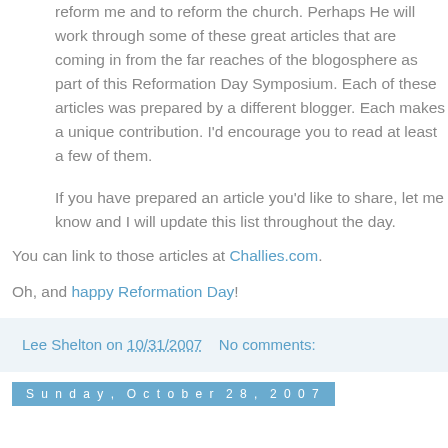reform me and to reform the church. Perhaps He will work through some of these great articles that are coming in from the far reaches of the blogosphere as part of this Reformation Day Symposium. Each of these articles was prepared by a different blogger. Each makes a unique contribution. I'd encourage you to read at least a few of them.
If you have prepared an article you'd like to share, let me know and I will update this list throughout the day.
You can link to those articles at Challies.com.
Oh, and happy Reformation Day!
Lee Shelton on 10/31/2007    No comments:
Sunday, October 28, 2007